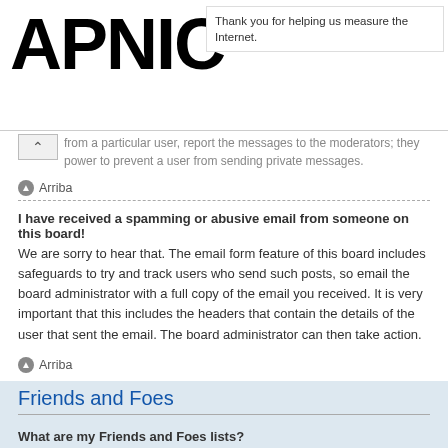[Figure (logo): APNIC logo in large bold black text]
Thank you for helping us measure the Internet.
from a particular user, report the messages to the moderators; they power to prevent a user from sending private messages.
Arriba
I have received a spamming or abusive email from someone on this board!
We are sorry to hear that. The email form feature of this board includes safeguards to try and track users who send such posts, so email the board administrator with a full copy of the email you received. It is very important that this includes the headers that contain the details of the user that sent the email. The board administrator can then take action.
Arriba
Friends and Foes
What are my Friends and Foes lists?
You can use these lists to organise other members of the board. Members added to your friends list will be listed within your User Control Panel for quick access to see their online status and to send them private messages. Subject to template support, posts from these users may also be highlighted. If you add a user to your foes list, any posts they make will be hidden by default.